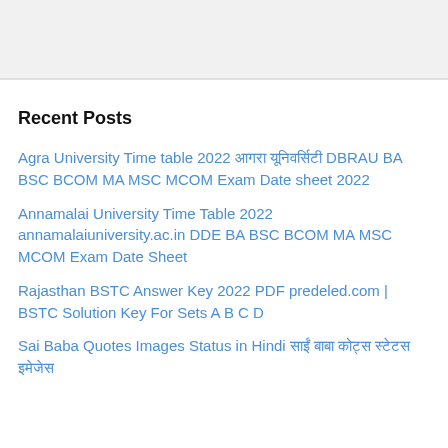Recent Posts
Agra University Time table 2022 आगरा यूनिवर्सिटी DBRAU BA BSC BCOM MA MSC MCOM Exam Date sheet 2022
Annamalai University Time Table 2022 annamalaiuniversity.ac.in DDE BA BSC BCOM MA MSC MCOM Exam Date Sheet
Rajasthan BSTC Answer Key 2022 PDF predeled.com | BSTC Solution Key For Sets A B C D
Sai Baba Quotes Images Status in Hindi साईं बाबा कोट्स स्टेटस इमेजेस